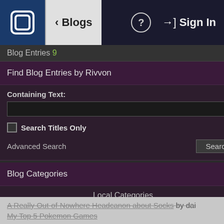Blogs | Sign In
Blog Entries 9
Find Blog Entries by Rivvon
Containing Text:
Search Titles Only
Advanced Search
Blog Categories
Local Categories
Pokémon
Recent Comments
A Really Out-of-Nowhere Headcanon about Socks by dai
My Top 5 Pokemon Games
PM by Rivvon
Tags headcanon, lysandre, pokemon, sycamore
Rivv
Okay, so… Why does Sycamore wear such weird socks?
Spoiler:  Show
His outfit is really well-coordinated, and he's known for